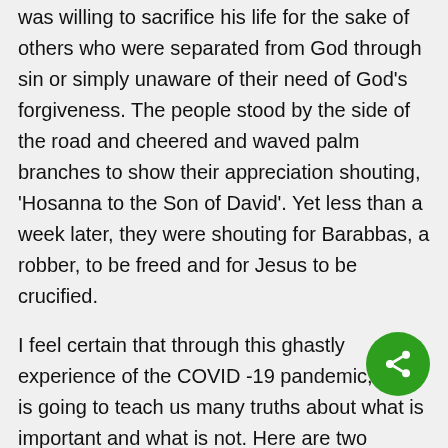was willing to sacrifice his life for the sake of others who were separated from God through sin or simply unaware of their need of God's forgiveness. The people stood by the side of the road and cheered and waved palm branches to show their appreciation shouting, 'Hosanna to the Son of David'. Yet less than a week later, they were shouting for Barabbas, a robber, to be freed and for Jesus to be crucified.
I feel certain that through this ghastly experience of the COVID -19 pandemic, God is going to teach us many truths about what is important and what is not. Here are two possible truths for starters:
God is teaching us the value and the vulnerability of each individual regardless of